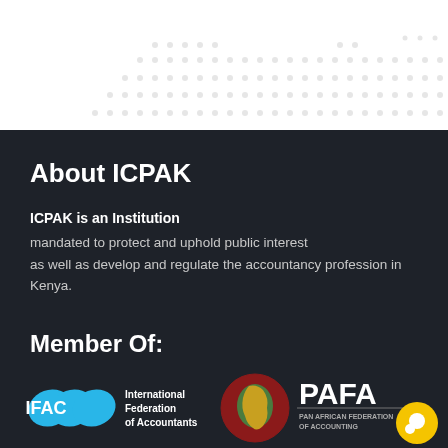[Figure (infographic): Dot pattern decorative background in the white top section]
About ICPAK
ICPAK is an Institution mandated to protect and uphold public interest as well as develop and regulate the accountancy profession in Kenya.
Member Of:
[Figure (logo): IFAC logo - International Federation of Accountants, blue overlapping diamond shapes with white IFAC text, alongside text 'International Federation of Accountants']
[Figure (logo): PAFA logo - Pan African Federation of Accounting, Africa continent graphic in red/green with PAFA text]